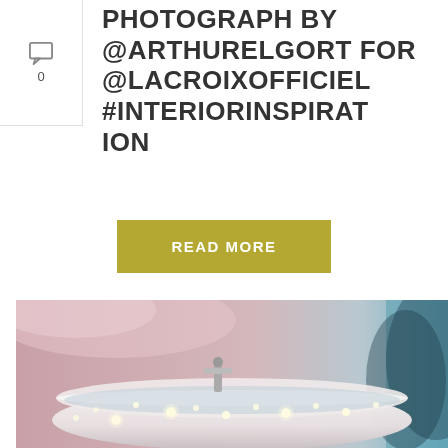[Figure (other): Comment icon with count 0 in left sidebar]
PHOTOGRAPH BY @ARTHURELGORT FOR @LACROIXOFFICIEL #INTERIORINSPIRAT ION
READ MORE
[Figure (photo): Photograph of a white clawfoot bathtub filled with sparkling water and lights, with a pink misty background and teal tones on the right side]